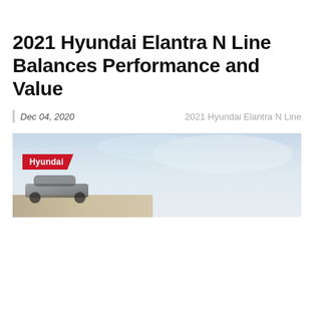2021 Hyundai Elantra N Line Balances Performance and Value
Dec 04, 2020    2021 Hyundai Elantra N Line
[Figure (photo): Wide banner photo of the 2021 Hyundai Elantra N Line against a sky background, with a red 'Hyundai' badge overlaid on the lower-left of the image.]